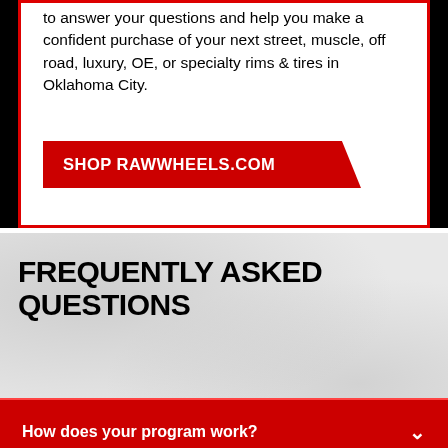to answer your questions and help you make a confident purchase of your next street, muscle, off road, luxury, OE, or specialty rims & tires in Oklahoma City.
SHOP RAWWHEELS.COM
FREQUENTLY ASKED QUESTIONS
How does your program work?
How much do wheels and tires cost?